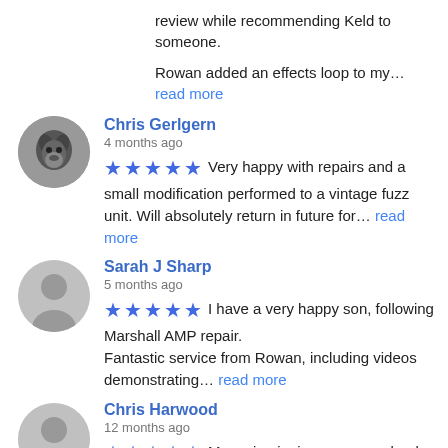review while recommending Keld to someone.
Rowan added an effects loop to my... read more
Chris Gerlgern
4 months ago
★★★★★ Very happy with repairs and a small modification performed to a vintage fuzz unit. Will absolutely return in future for... read more
Sarah J Sharp
5 months ago
★★★★★ I have a very happy son, following Marshall AMP repair. Fantastic service from Rowan, including videos demonstrating... read more
Chris Harwood
12 months ago
★★★★★ My main gigging amp was dead on the clean channels. I'd replaced the pre-amp valves myself and thought it had been... read more